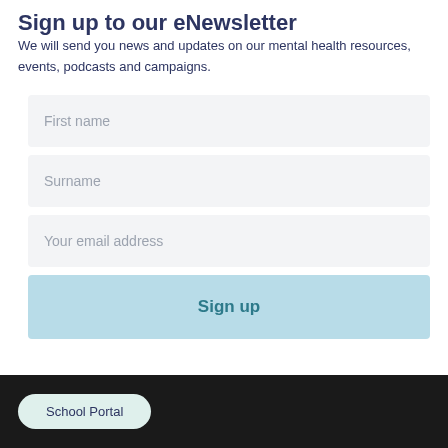Sign up to our eNewsletter
We will send you news and updates on our mental health resources, events, podcasts and campaigns.
First name
Surname
Your email address
Sign up
School Portal